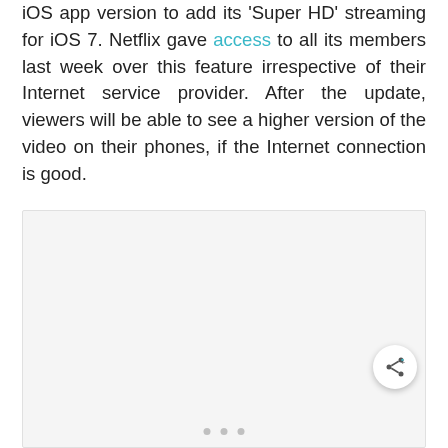iOS app version to add its 'Super HD' streaming for iOS 7. Netflix gave access to all its members last week over this feature irrespective of their Internet service provider. After the update, viewers will be able to see a higher version of the video on their phones, if the Internet connection is good.
[Figure (other): A light grey placeholder image box with a share button (circle with share icon) in the bottom-right corner, and three pagination dots at the bottom center.]